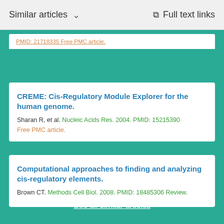Similar articles  ∨    Full text links
PMID: 21718335 Free PMC article.
CREME: Cis-Regulatory Module Explorer for the human genome.
Sharan R, et al. Nucleic Acids Res. 2004. PMID: 15215390 Free PMC article.
Computational approaches to finding and analyzing cis-regulatory elements.
Brown CT. Methods Cell Biol. 2008. PMID: 18485306 Review.
See all similar articles